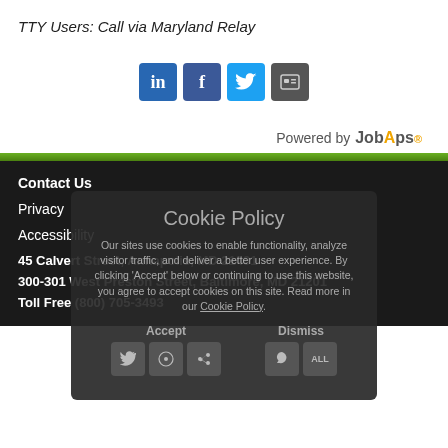TTY Users:  Call via Maryland Relay
[Figure (other): Social media icons: LinkedIn, Facebook, Twitter, and a share icon]
Powered by JobAps
Contact Us
Privacy
Accessibility
45 Calvert Street, Annapolis, MD 21401
300-301 West Preston Street, Baltimore, MD 21201
Toll Free (800) 705-3493
[Figure (other): Cookie Policy overlay with Accept and Dismiss buttons and share icons]